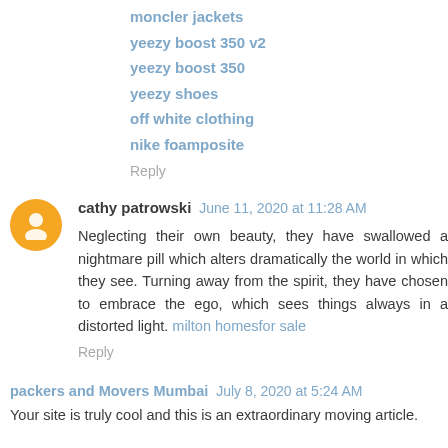moncler jackets
yeezy boost 350 v2
yeezy boost 350
yeezy shoes
off white clothing
nike foamposite
Reply
cathy patrowski June 11, 2020 at 11:28 AM
Neglecting their own beauty, they have swallowed a nightmare pill which alters dramatically the world in which they see. Turning away from the spirit, they have chosen to embrace the ego, which sees things always in a distorted light. milton homesfor sale
Reply
packers and Movers Mumbai July 8, 2020 at 5:24 AM
Your site is truly cool and this is an extraordinary moving article.